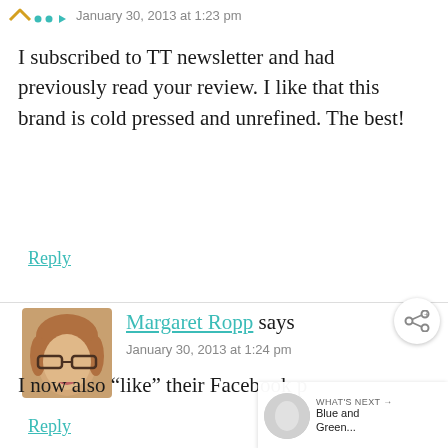January 30, 2013 at 1:23 pm
I subscribed to TT newsletter and had previously read your review. I like that this brand is cold pressed and unrefined. The best!
Reply
Margaret Ropp says
January 30, 2013 at 1:24 pm
I now also “like” their Facebook p…
Reply